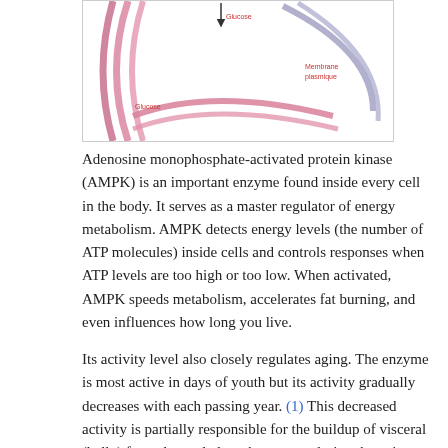[Figure (schematic): Partial diagram of AMPK and glucose transport across a cell membrane (membrane plasmique), showing glucose molecules and curved arrows indicating transport pathways.]
Adenosine monophosphate-activated protein kinase (AMPK) is an important enzyme found inside every cell in the body. It serves as a master regulator of energy metabolism. AMPK detects energy levels (the number of ATP molecules) inside cells and controls responses when ATP levels are too high or too low. When activated, AMPK speeds metabolism, accelerates fat burning, and even influences how long you live.
Its activity level also closely regulates aging. The enzyme is most active in days of youth but its activity gradually decreases with each passing year. (1) This decreased activity is partially responsible for the buildup of visceral (belly) fat and muscle loss that occurs during the aging process. Excess weight, and the accumulation of fat around the waistline, accelerates aging. (2) Abdominal